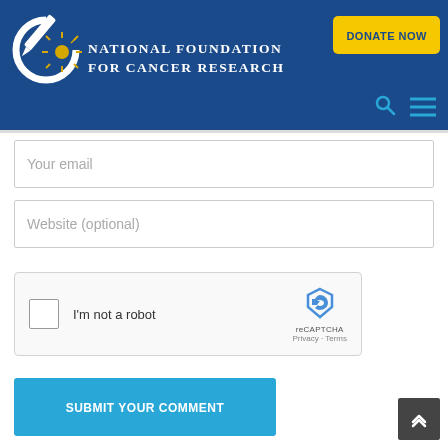[Figure (logo): National Foundation for Cancer Research logo with circular design, pencil/brush icon, and starburst, white on dark blue background, with organization name text]
DONATE NOW
Your email
Website (optional)
[Figure (screenshot): reCAPTCHA widget with checkbox, 'I'm not a robot' text, reCAPTCHA logo, Privacy and Terms links]
SUBMIT YOUR COMMENT